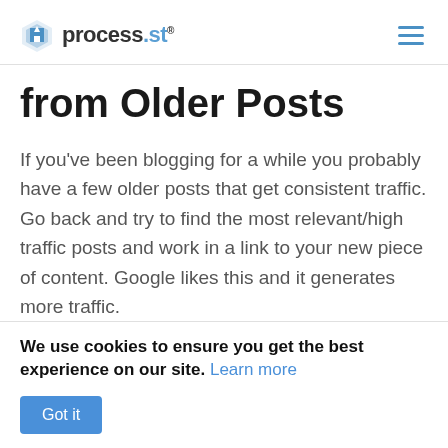process.st
from Older Posts
If you've been blogging for a while you probably have a few older posts that get consistent traffic. Go back and try to find the most relevant/high traffic posts and work in a link to your new piece of content. Google likes this and it generates more traffic.
You can also find related post plugins on
We use cookies to ensure you get the best experience on our site. Learn more